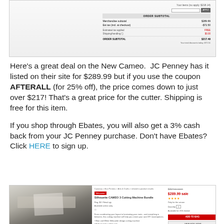[Figure (screenshot): Screenshot of a JC Penney order summary page showing coupon code input and order total of $217]
Here's a great deal on the New Cameo.  JC Penney has it listed on their site for $289.99 but if you use the coupon AFTERALL (for 25% off), the price comes down to just over $217! That's a great price for the cutter. Shipping is free for this item.

If you shop through Ebates, you will also get a 3% cash back from your JC Penney purchase. Don't have Ebates? Click HERE to sign up.
[Figure (screenshot): Screenshot of JC Penney product page showing Silhouette CAMEO 3 Cutting Machine Bundle priced at $289.99 with sale indicator and Add to Bag button]